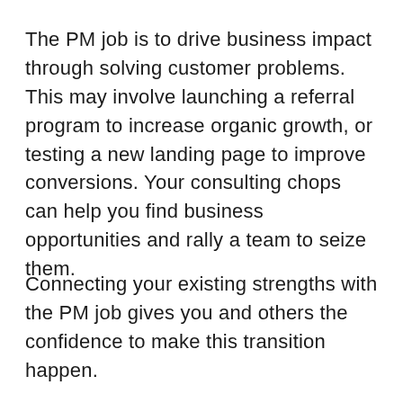The PM job is to drive business impact through solving customer problems. This may involve launching a referral program to increase organic growth, or testing a new landing page to improve conversions. Your consulting chops can help you find business opportunities and rally a team to seize them.
Connecting your existing strengths with the PM job gives you and others the confidence to make this transition happen.